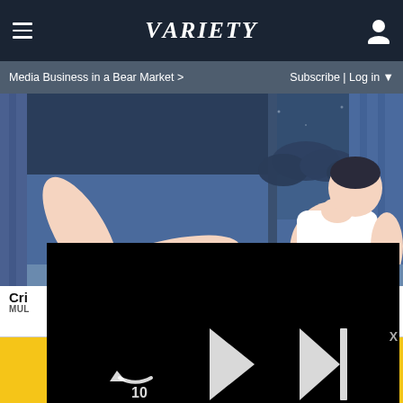VARIETY
Media Business in a Bear Market >   Subscribe | Log in
[Figure (illustration): Digital illustration of a person in a white tank top reclining, with a night sky and clouds visible through a window in the background, blue tones.]
Cri...   ...ss
MUL...
[Figure (screenshot): Embedded video player overlay with black background, showing playback controls: rewind 10 seconds button, play button, skip-to-next button. Progress bar at 00:00 / 01:20. Bottom bar icons: mute, share, grid, settings, fullscreen. Dismiss X at bottom right.]
$74 OFF — ACT FAST!